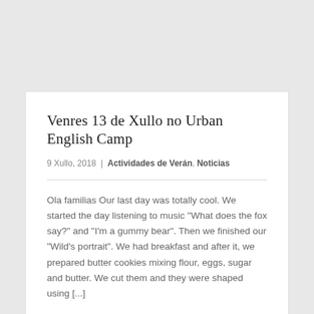Venres 13 de Xullo no Urban English Camp
9 Xullo, 2018 | Actividades de Verán, Noticias
Ola familias Our last day was totally cool. We started the day listening to music "What does the fox say?" and "I'm a gummy bear". Then we finished our "Wild's portrait". We had breakfast and after it, we prepared butter cookies mixing flour, eggs, sugar and butter. We cut them and they were shaped using [...]